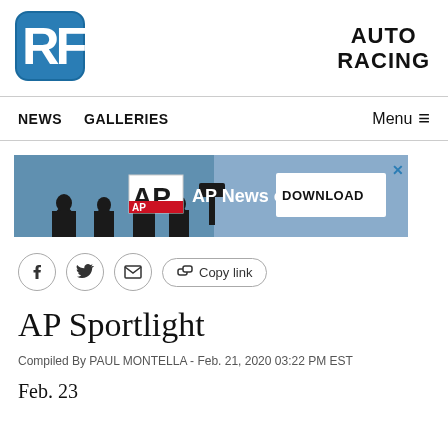[Figure (logo): RE logo in blue rounded square with white letters]
AUTO RACING
NEWS   GALLERIES   Menu ≡
[Figure (screenshot): AP News on the go advertisement banner with DOWNLOAD button and close X]
[Figure (infographic): Social share icons: Facebook, Twitter, Email, Copy link]
AP Sportlight
Compiled By PAUL MONTELLA - Feb. 21, 2020 03:22 PM EST
Feb. 23